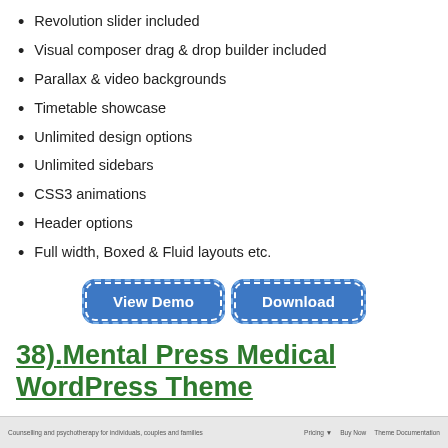Revolution slider included
Visual composer drag & drop builder included
Parallax & video backgrounds
Timetable showcase
Unlimited design options
Unlimited sidebars
CSS3 animations
Header options
Full width, Boxed & Fluid layouts etc.
View Demo | Download
38). Mental Press Medical WordPress Theme
[Figure (screenshot): Screenshot of Mental Press Medical WordPress Theme website, showing a counselling and psychotherapy header with navigation links.]